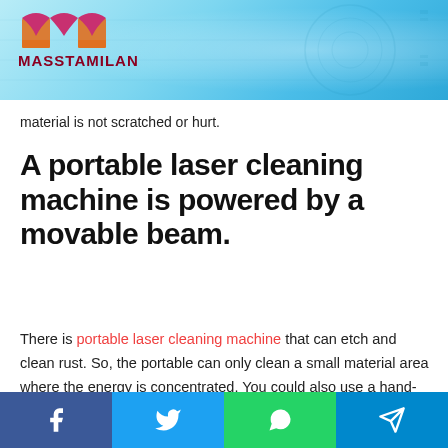[Figure (logo): Masstamilan logo with stylized M shape in pink/red/orange colors, with text MASSTAMILAN below, on a cyan/blue tech background with circuit patterns]
material is not scratched or hurt.
A portable laser cleaning machine is powered by a movable beam.
There is portable laser cleaning machine that can etch and clean rust. So, the portable can only clean a small material area where the energy is concentrated. You could also use a hand-held laser cleaner.
Facebook | Twitter | WhatsApp | Telegram